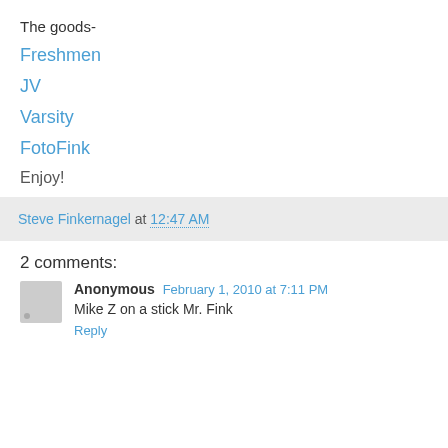The goods-
Freshmen
JV
Varsity
FotoFink
Enjoy!
Steve Finkernagel at 12:47 AM
2 comments:
Anonymous  February 1, 2010 at 7:11 PM
Mike Z on a stick Mr. Fink
Reply